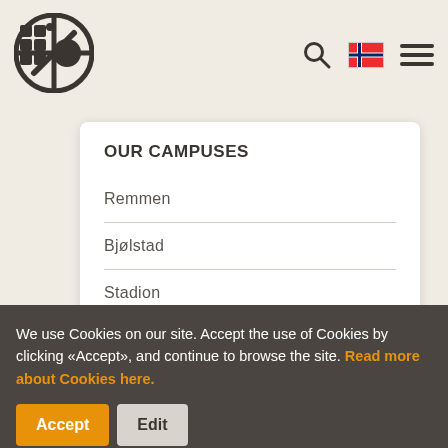[Figure (logo): SiO logo — circular emblem with grid and slash symbol, bold dark gray]
[Figure (other): Navigation icons: search magnifier, Norwegian flag, hamburger menu]
OUR CAMPUSES
Remmen
Bjølstad
Stadion
We use Cookies on our site. Accept the use of Cookies by clicking «Accept», and continue to browse the site. Read more about Cookies here.
Accept
Edit
ou have any questions?